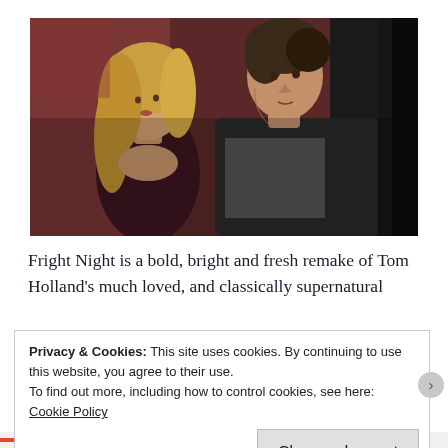[Figure (photo): Two young people (a blonde woman and a young man) in a dimly lit room with reddish-brown walls, looking frightened or alert — a movie still from Fright Night.]
Fright Night is a bold, bright and fresh remake of Tom Holland's much loved, and classically supernatural
Privacy & Cookies: This site uses cookies. By continuing to use this website, you agree to their use.
To find out more, including how to control cookies, see here: Cookie Policy
Close and accept